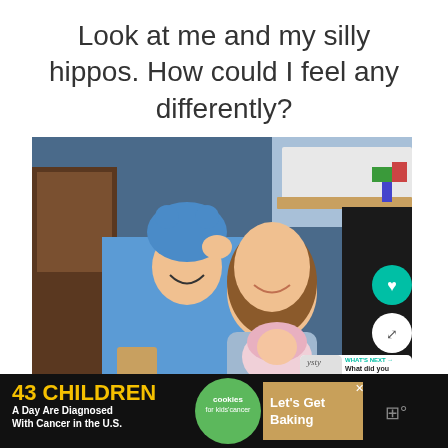Look at me and my silly hippos. How could I feel any differently?
[Figure (photo): A woman smiling and holding a baby dressed in a pink hippo costume, with a child in a blue hippo costume standing beside her in a bedroom setting. UI overlay shows heart button, share button, and a 'What's Next' card with 'What did you say?' label.]
[Figure (infographic): Advertisement banner: '43 CHILDREN A Day Are Diagnosed With Cancer in the U.S.' with Cookies for Kids' Cancer logo and 'Let's Get Baking' call to action on a dark background.]